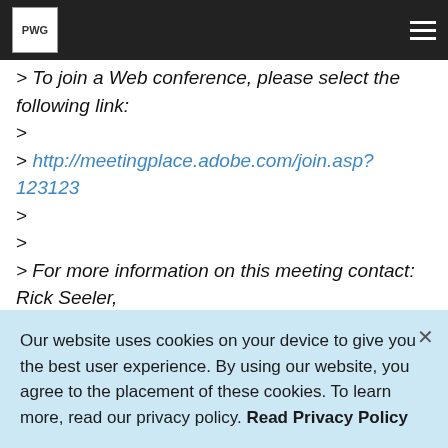PWG [logo] [hamburger menu]
> To join a Web conference, please select the following link:
>
> http://meetingplace.adobe.com/join.asp?123123
>
>
> For more information on this meeting contact: Rick Seeler, at
408-536-4393
>
> If you have never joined a Web conference you can test your browser at
the
> following link:
Our website uses cookies on your device to give you the best user experience. By using our website, you agree to the placement of these cookies. To learn more, read our privacy policy. Read Privacy Policy